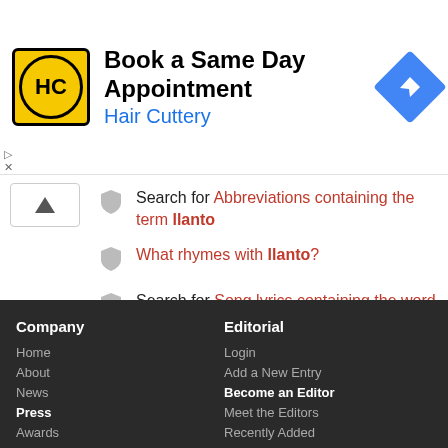[Figure (screenshot): Advertisement banner for Hair Cuttery: Book a Same Day Appointment, with logo and navigation icon]
Search for Abbreviations containing the term llanto
What rhymes with llanto?
Search for Song lyrics containing the word llanto
Search for llanto on Amazon
Search for llanto on Google
Company
Home
About
News
Press
Awards
Testimonials
Editorial
Login
Add a New Entry
Become an Editor
Meet the Editors
Recently Added
Activity Log